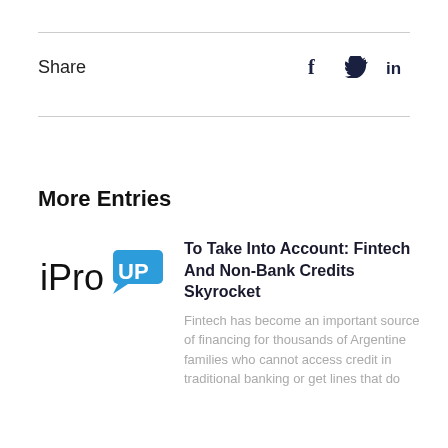Share
More Entries
[Figure (logo): iProUP logo — 'iPro' in black text with 'UP' in white text on a blue speech-bubble rectangle]
To Take Into Account: Fintech And Non-Bank Credits Skyrocket
Fintech has become an important source of financing for thousands of Argentine families who cannot access credit in traditional banking or get lines that do